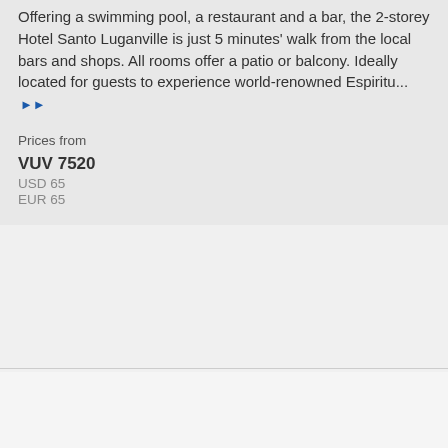Offering a swimming pool, a restaurant and a bar, the 2-storey Hotel Santo Luganville is just 5 minutes' walk from the local bars and shops. All rooms offer a patio or balcony. Ideally located for guests to experience world-renowned Espiritu... ▶▶
Prices from
VUV 7520
USD 65
EUR 65
[Figure (photo): Photo of a traditional thatched-roof bungalow/hut surrounded by tropical vegetation]